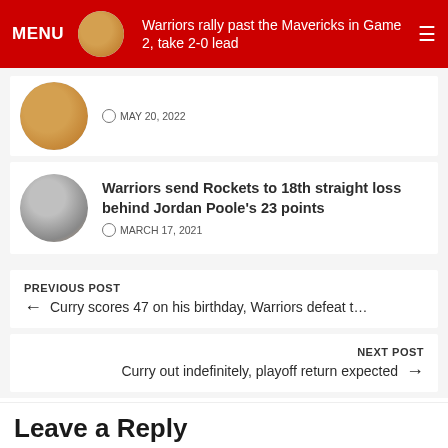MENU
Warriors rally past the Mavericks in Game 2, take 2-0 lead
MAY 20, 2022
Warriors send Rockets to 18th straight loss behind Jordan Poole's 23 points
MARCH 17, 2021
PREVIOUS POST
← Curry scores 47 on his birthday, Warriors defeat t…
NEXT POST
Curry out indefinitely, playoff return expected →
Leave a Reply